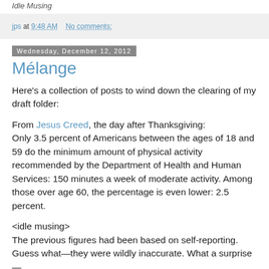Idle Musing
jps at 9:48 AM    No comments:
Wednesday, December 12, 2012
Mélange
Here's a collection of posts to wind down the clearing of my draft folder:
From Jesus Creed, the day after Thanksgiving:
Only 3.5 percent of Americans between the ages of 18 and 59 do the minimum amount of physical activity recommended by the Department of Health and Human Services: 150 minutes a week of moderate activity. Among those over age 60, the percentage is even lower: 2.5 percent.
<idle musing>
The previous figures had been based on self-reporting. Guess what—they were wildly inaccurate. What a surprise—NOT! I don't want to admit it, so we wildly lie and...